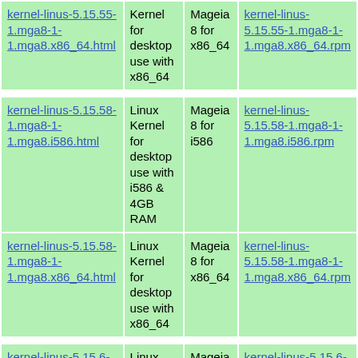| Package | Description | Platform | Download |
| --- | --- | --- | --- |
| kernel-linus-5.15.55-1.mga8-1-1.mga8.x86_64.html | Kernel for desktop use with x86_64 | Mageia 8 for x86_64 | kernel-linus-5.15.55-1.mga8-1-1.mga8.x86_64.rpm |
| kernel-linus-5.15.58-1.mga8-1-1.mga8.i586.html | Linux Kernel for desktop use with i586 & 4GB RAM | Mageia 8 for i586 | kernel-linus-5.15.58-1.mga8-1-1.mga8.i586.rpm |
| kernel-linus-5.15.58-1.mga8-1-1.mga8.x86_64.html | Linux Kernel for desktop use with x86_64 | Mageia 8 for x86_64 | kernel-linus-5.15.58-1.mga8-1-1.mga8.x86_64.rpm |
| kernel-linus-5.15.6-1.mga8-1-1.mga8.i586.html | Linux Kernel for desktop use with i586 & 4GB | Mageia 8 for i586 | kernel-linus-5.15.6-1.mga8-1-1.mga8.i586.rpm |